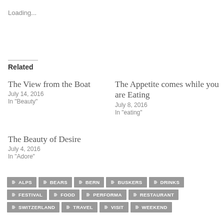Loading...
Related
The View from the Boat
July 14, 2016
In "Beauty"
The Appetite comes while you are Eating
July 8, 2016
In "eating"
The Beauty of Desire
July 4, 2016
In "Adore"
ALPS
BEARS
BERN
BUSKERS
DRINKS
FESTIVAL
FOOD
PERFORMA
RESTAURANT
SWITZERLAND
TRAVEL
VISIT
WEEKEND